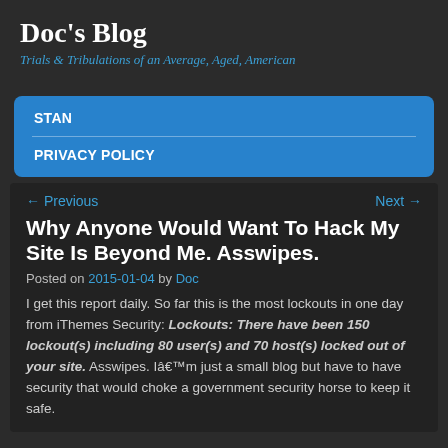Doc's Blog
Trials & Tribulations of an Average, Aged, American
STAN
PRIVACY POLICY
← Previous    Next →
Why Anyone Would Want To Hack My Site Is Beyond Me. Asswipes.
Posted on 2015-01-04 by Doc
I get this report daily. So far this is the most lockouts in one day from iThemes Security: Lockouts: There have been 150 lockout(s) including 80 user(s) and 70 host(s) locked out of your site. Asswipes. I'm just a small blog but have to have security that would choke a government security horse to keep it safe.